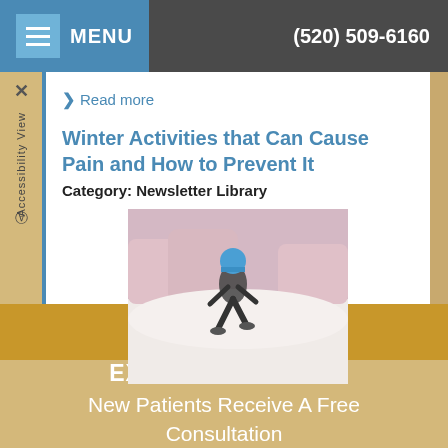MENU   (520) 509-6160
> Read more
Winter Activities that Can Cause Pain and How to Prevent It
Category: Newsletter Library
[Figure (photo): Person running or exercising outdoors in winter snow, wearing a blue hat and athletic gear]
⊕ Exclusive Offer
EXCLUSIVE OFFER
New Patients Receive A Free Consultation